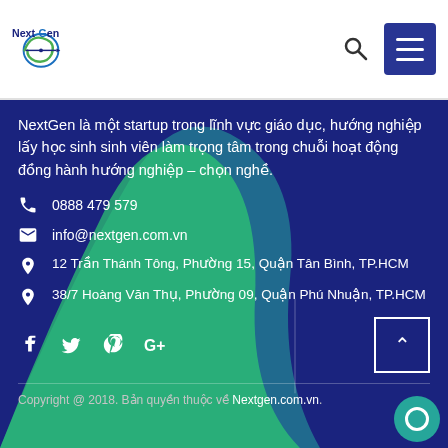[Figure (logo): NextGen logo with circular green swirl and compass/arrow, dark blue text]
NextGen là một startup trong lĩnh vực giáo dục, hướng nghiệp lấy học sinh sinh viên làm trọng tâm trong chuỗi hoạt động đồng hành hướng nghiệp – chọn nghề.
📞 0888 479 579
✉ info@nextgen.com.vn
📍 12 Trần Thánh Tông, Phường 15, Quận Tân Bình, TP.HCM
📍 38/7 Hoàng Văn Thụ, Phường 09, Quận Phú Nhuận, TP.HCM
Copyright @ 2018. Bản quyền thuộc về Nextgen.com.vn.